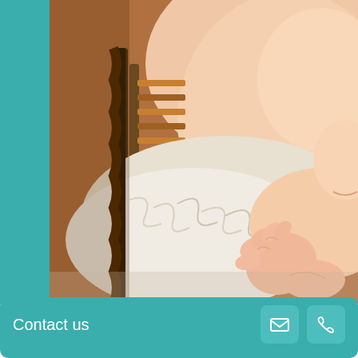[Figure (photo): Close-up photograph of a sleeping newborn baby resting in a wicker basket lined with white fluffy fur. The baby's face and tiny clenched fist are visible. A teal/turquoise vertical bar is on the left side of the image.]
Contact us